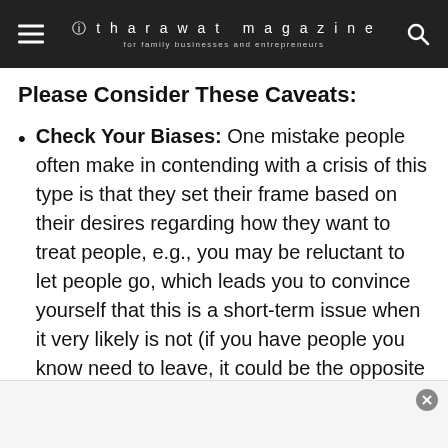tharawat magazine — for family businesses and entrepreneurs
Please Consider These Caveats:
Check Your Biases: One mistake people often make in contending with a crisis of this type is that they set their frame based on their desires regarding how they want to treat people, e.g., you may be reluctant to let people go, which leads you to convince yourself that this is a short-term issue when it very likely is not (if you have people you know need to leave, it could be the opposite as well)